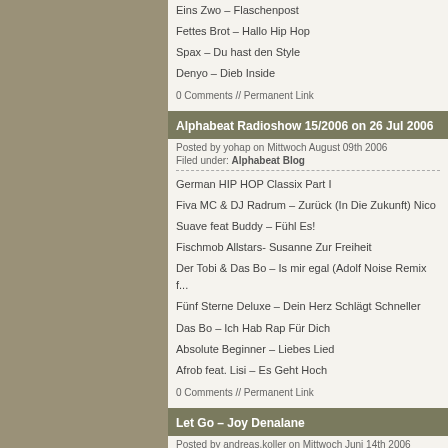Eins Zwo – Flaschenpost
Fettes Brot – Hallo Hip Hop
Spax – Du hast den Style
Denyo – Dieb Inside
0 Comments // Permanent Link
Alphabeat Radioshow 15/2006 on 26 Jul 2006
Posted by yohap on Mittwoch August 09th 2006
Filed under: Alphabeat Blog
German HIP HOP Classix Part I
Fiva MC & DJ Radrum – Zurück (In Die Zukunft) Nico
Suave feat Buddy – Fühl Es!
Fischmob Allstars- Susanne Zur Freiheit
Der Tobi & Das Bo – Is mir egal (Adolf Noise Remix f...
Fünf Sterne Deluxe – Dein Herz Schlägt Schneller
Das Bo – Ich Hab Rap Für Dich
Absolute Beginner – Liebes Lied
Afrob feat. Lisi – Es Geht Hoch
0 Comments // Permanent Link
Let Go – Joy Denalane
Posted by andreas.koller on Mittwoch Juni 14th 2006